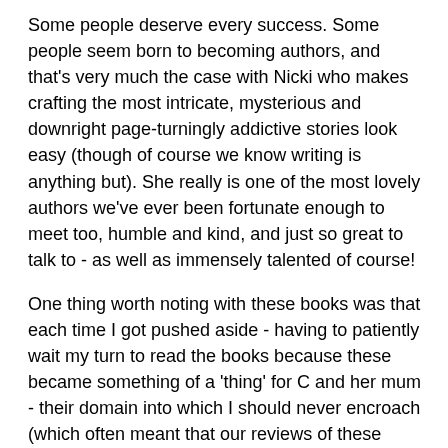Some people deserve every success. Some people seem born to becoming authors, and that's very much the case with Nicki who makes crafting the most intricate, mysterious and downright page-turningly addictive stories look easy (though of course we know writing is anything but). She really is one of the most lovely authors we've ever been fortunate enough to meet too, humble and kind, and just so great to talk to - as well as immensely talented of course!
One thing worth noting with these books was that each time I got pushed aside - having to patiently wait my turn to read the books because these became something of a 'thing' for C and her mum - their domain into which I should never encroach (which often meant that our reviews of these books ended up a bit more coherent and nicely written - because they came straight from the girls rather than me!) I didn't really mind the wait though, but of course had to swear the pair of them to 'no spoilers' every time.
So what on earth are these books about? Well we've mentioned Seth Seppi - a would-be magician in training who, along with his cat Nightshade, seems to end up in the wrong